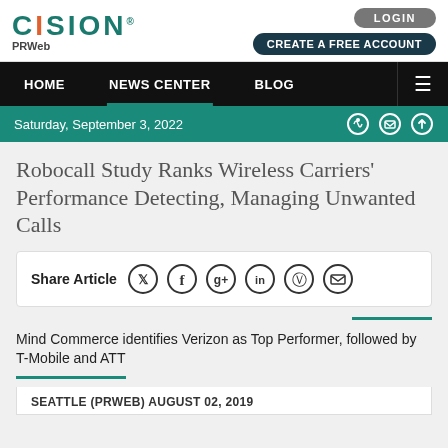[Figure (logo): CISION PRWeb logo in teal/orange]
LOGIN  CREATE A FREE ACCOUNT
HOME  NEWS CENTER  BLOG
Saturday, September 3, 2022
Robocall Study Ranks Wireless Carriers' Performance Detecting, Managing Unwanted Calls
Share Article
Mind Commerce identifies Verizon as Top Performer, followed by T-Mobile and ATT
SEATTLE (PRWEB) AUGUST 02, 2019